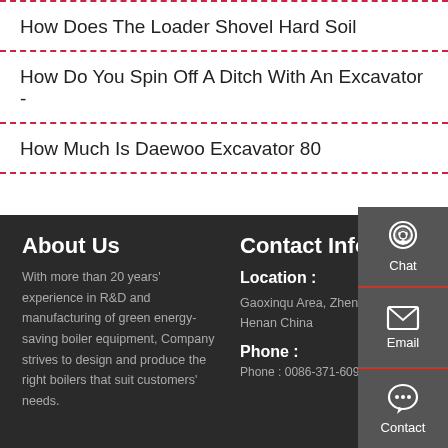How Does The Loader Shovel Hard Soil
How Do You Spin Off A Ditch With An Excavator -
How Much Is Daewoo Excavator 80
About Us
With more than 20 years' experience in R&D and manufacturing of green energy-saving boiler equipment, Company strives to design and produce the right boilers that suit customers' needs.
Contact Info
Location :
Gaoxinqu Area, Zhengzhou Henan China
Phone :
Phone : 0086-371-60922096